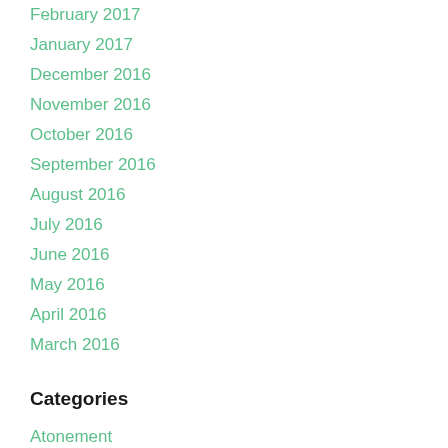February 2017
January 2017
December 2016
November 2016
October 2016
September 2016
August 2016
July 2016
June 2016
May 2016
April 2016
March 2016
Categories
Atonement
Culture
Literature